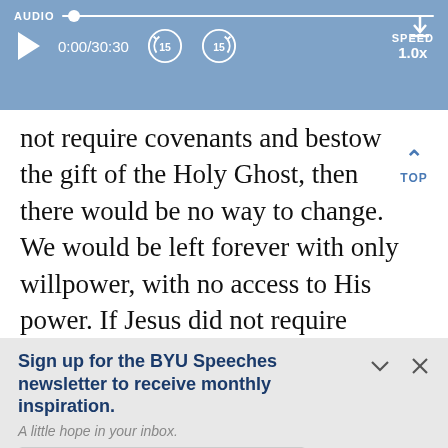[Figure (screenshot): Audio player bar with play button, time 0:00/30:30, skip back and forward 15s buttons, speed 1.0x, and download button]
not require covenants and bestow the gift of the Holy Ghost, then there would be no way to change. We would be left forever with only willpower, with no access to His power. If Jesus did not require endurance to the end
Sign up for the BYU Speeches newsletter to receive monthly inspiration.
A little hope in your inbox.
Enter your email
SUBSCRIBE